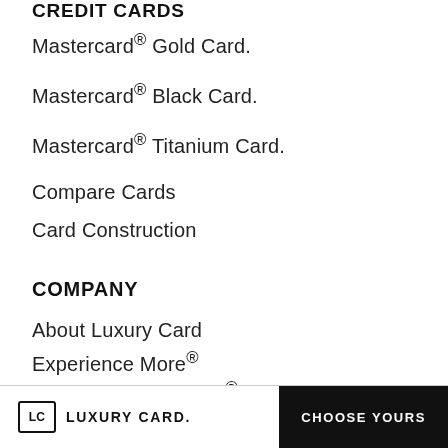CREDIT CARDS
Mastercard® Gold Card.
Mastercard® Black Card.
Mastercard® Titanium Card.
Compare Cards
Card Construction
COMPANY
About Luxury Card
Experience More®
LUXURY MAGAZINE®
News & Press
Watch TV Ad
LC LUXURY CARD. | CHOOSE YOURS